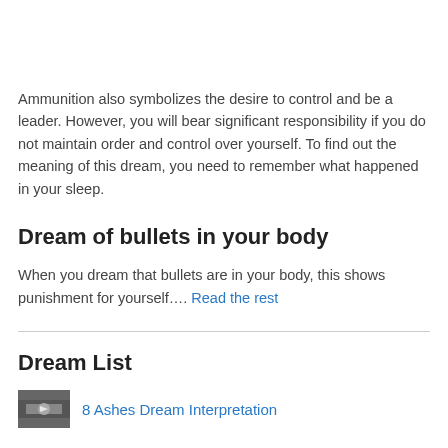Ammunition also symbolizes the desire to control and be a leader. However, you will bear significant responsibility if you do not maintain order and control over yourself. To find out the meaning of this dream, you need to remember what happened in your sleep.
Dream of bullets in your body
When you dream that bullets are in your body, this shows punishment for yourself…. Read the rest
Dream List
8 Ashes Dream Interpretation